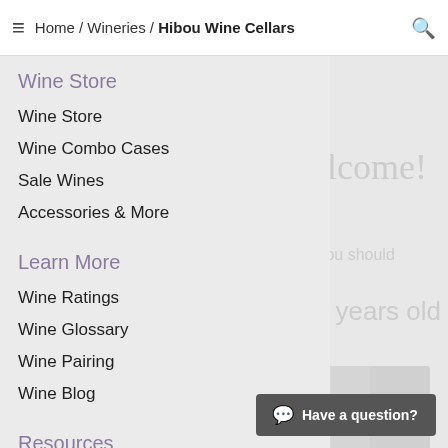Home / Wineries / Hibou Wine Cellars
Wine Store
Wine Store
Wine Combo Cases
Sale Wines
Accessories & More
Learn More
Wine Ratings
Wine Glossary
Wine Pairing
Wine Blog
Resources
Wineries
Wine Regions
Have a question?